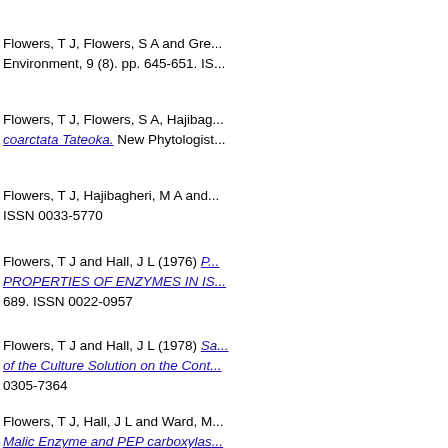Flowers, T J, Flowers, S A and Gre... Environment, 9 (8). pp. 645-651. IS...
Flowers, T J, Flowers, S A, Hajibag... coarctata Tateoka. New Phytologist...
Flowers, T J, Hajibagheri, M A and... ISSN 0033-5770
Flowers, T J and Hall, J L (1976) PROPERTIES OF ENZYMES IN IS... 689. ISSN 0022-0957
Flowers, T J and Hall, J L (1978) Sa... of the Culture Solution on the Cont... 0305-7364
Flowers, T J, Hall, J L and Ward, M... Malic Enzyme and PEP carboxyla...
Flowers, T J, Hall, J L and Ward, M... the enzyme malate dehydrogenase...
Flowers, T J and Hanson, J B (196... 44 (7). pp. 939-945. ISSN 0032-08...